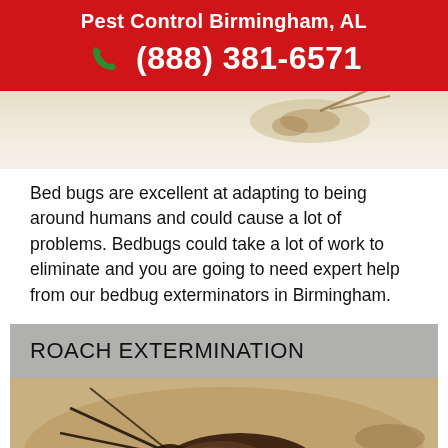Pest Control Birmingham, AL
(888) 381-6571
[Figure (photo): Close-up photo of a bed bug or insect on a light background, partially visible at top of page]
Bed bugs are excellent at adapting to being around humans and could cause a lot of problems. Bedbugs could take a lot of work to eliminate and you are going to need expert help from our bedbug exterminators in Birmingham.
ROACH EXTERMINATION
[Figure (photo): Close-up photograph of a cockroach lying on its back on a light surface, with other roaches blurred in the background]